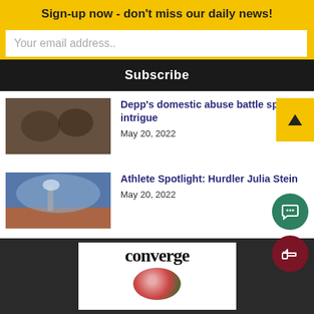Sign-up now - don't miss our daily news!
Your email address..
Subscribe
Depp's domestic abuse battle sparks intrigue — May 20, 2022
Athlete Spotlight: Hurdler Julia Stein — May 20, 2022
Athlete Spotlight: Jacob Whitby — May 20, 2022
[Figure (logo): Converge magazine logo with stylized text and colored circle]
converge